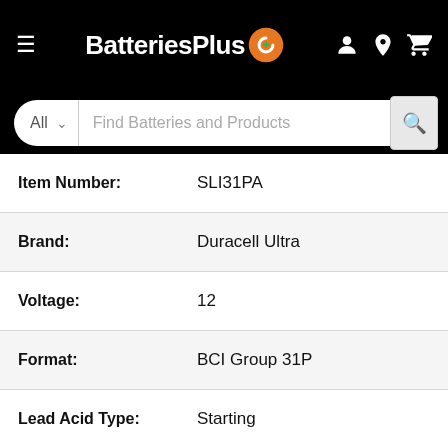BatteriesPlus — Navigation header with hamburger menu, logo, account, location, and cart icons
All  |  Find Batteries and Products
| Attribute | Value |
| --- | --- |
| Item Number: | SLI31PA |
| Brand: | Duracell Ultra |
| Voltage: | 12 |
| Format: | BCI Group 31P |
| Lead Acid Type: | Starting |
| Cold Cranking Amps: | 950 |
| Battery Type: | Basic |
| Chemistry: | Lead Acid |
| Cranking Amps: | 1170 |